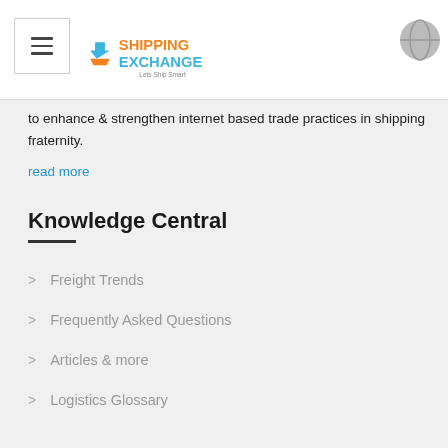Shipping Exchange - Lets Ship Smart
to enhance & strengthen internet based trade practices in shipping fraternity.
read more
Knowledge Central
Freight Trends
Frequently Asked Questions
Articles & more
Logistics Glossary